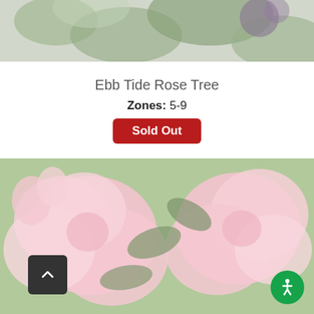[Figure (photo): Partial top photo of a plant/flower with green leaves and purple/dark flower, cropped at top of page]
Ebb Tide Rose Tree
Zones: 5-9
Sold Out
[Figure (photo): Photo of pink roses/azalea flowers in bloom with green leaves, large close-up shot]